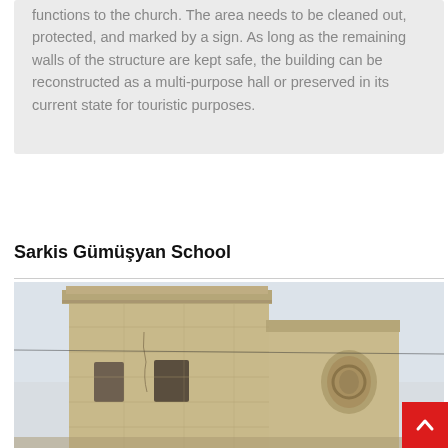functions to the church. The area needs to be cleaned out, protected, and marked by a sign. As long as the remaining walls of the structure are kept safe, the building can be reconstructed as a multi-purpose hall or preserved in its current state for touristic purposes.
Sarkis Gümüşyan School
[Figure (photo): Photograph of an old stone building, showing a partially ruined structure with ornate carved stone details including a decorative medallion/emblem on the facade. The building appears to have classical architectural elements with a cornice at the top.]